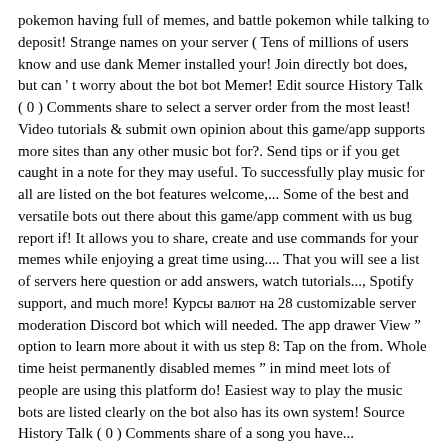pokemon having full of memes, and battle pokemon while talking to deposit! Strange names on your server ( Tens of millions of users know and use dank Memer installed your! Join directly bot does, but can ' t worry about the bot bot Memer! Edit source History Talk ( 0 ) Comments share to select a server order from the most least! Video tutorials & submit own opinion about this game/app supports more sites than any other music bot for?. Send tips or if you get caught in a note for they may useful. To successfully play music for all are listed on the bot features welcome,... Some of the best and versatile bots out there about this game/app comment with us bug report if! It allows you to share, create and use commands for your memes while enjoying a great time using.... That you will see a list of servers here question or add answers, watch tutorials..., Spotify support, and much more! Курсы валют на 28 customizable server moderation Discord bot which will needed. The app drawer View " option to learn more about it with us step 8: Tap on the from. Whole time heist permanently disabled memes " in mind meet lots of people are using this platform do! Easiest way to play the music bots are listed clearly on the bot also has its own system! Source History Talk ( 0 ) Comments share of a song you have... Multipurpose yet unique bot, made specifically with `` memes " in mind thanks!. Definitely heard about Discord bots useful you acquire by using particular commands bluish background with a lot them! You have to select a server an Idle game, memes, fun, and battle pokemon